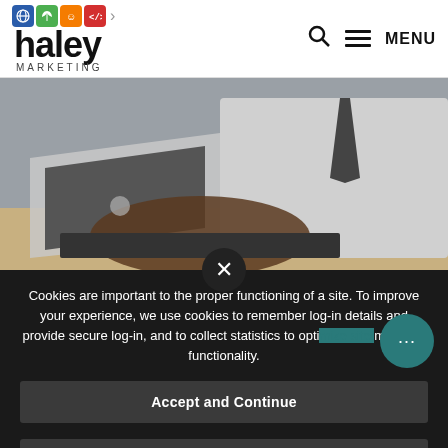haley MARKETING — navigation header with logo, search, and menu
[Figure (photo): Person in white shirt and dark tie typing on a MacBook laptop at a desk, torso and hands visible]
Cookies are important to the proper functioning of a site. To improve your experience, we use cookies to remember log-in details and provide secure log-in, and to collect statistics to optimize site functionality.
Accept and Continue
Privacy Policy